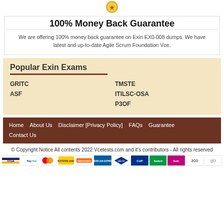100% Money Back Guarantee
We are offering 100% money back guarantee on Exin EX0-008 dumps. We have latest and up-to-date Agile Scrum Foundation Vce.
Popular Exin Exams
TMSTE
ITILSC-OSA
P3OF
GRITC
ASF
Home   About Us   Disclaimer [Privacy Policy]   FAQs   Guarantee   Contact Us
© Copyright Notice All contents 2022 Vcetests.com and it's contributors - All rights reserved